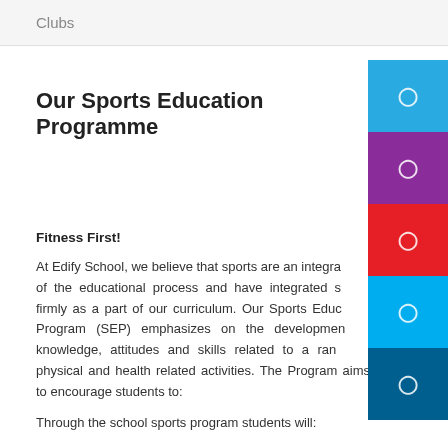Clubs
Our Sports Education Programme
Fitness First!
At Edify School, we believe that sports are an integral part of the educational process and have integrated sports firmly as a part of our curriculum. Our Sports Education Program (SEP) emphasizes on the development of knowledge, attitudes and skills related to a range of physical and health related activities. The Program aims to encourage students to:
Through the school sports program students will: